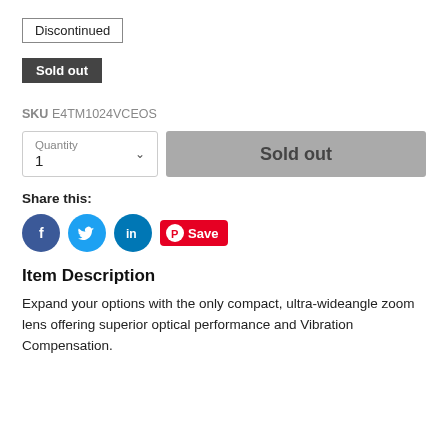Discontinued
Sold out
SKU E4TM1024VCEOS
Quantity 1 | Sold out
Share this:
[Figure (illustration): Social share buttons: Facebook (blue circle with f), Twitter (light blue circle with bird), LinkedIn (dark blue circle with in), and Pinterest Save button (red with P icon and Save text)]
Item Description
Expand your options with the only compact, ultra-wideangle zoom lens offering superior optical performance and Vibration Compensation.